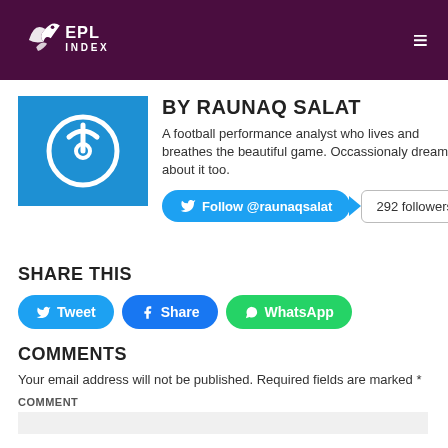EPL INDEX
BY RAUNAQ SALAT
A football performance analyst who lives and breathes the beautiful game. Occassionaly dreams about it too.
Follow @raunaqsalat  292 followers
SHARE THIS
Tweet  Share  WhatsApp
COMMENTS
Your email address will not be published. Required fields are marked *
COMMENT